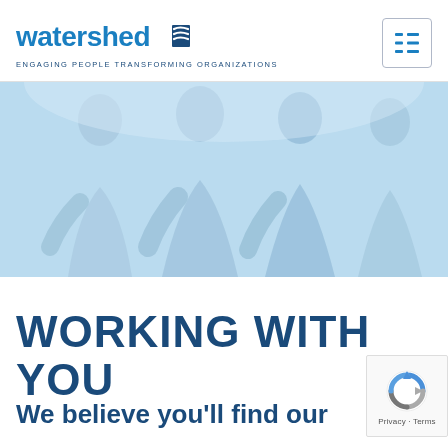[Figure (logo): Watershed logo with blue text and wave/flag icon, tagline: ENGAGING PEOPLE TRANSFORMING ORGANIZATIONS]
[Figure (photo): Hero image of business people silhouettes in light blue tones]
WORKING WITH YOU
We believe you'll find our
[Figure (other): reCAPTCHA badge with Privacy and Terms links]